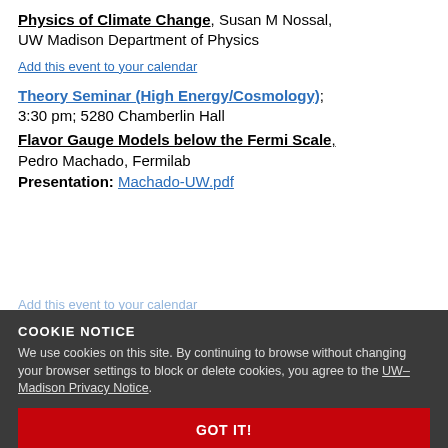Physics of Climate Change, Susan M Nossal, UW Madison Department of Physics
Add this event to your calendar
Theory Seminar (High Energy/Cosmology); 3:30 pm; 5280 Chamberlin Hall
Flavor Gauge Models below the Fermi Scale, Pedro Machado, Fermilab
Presentation: Machado-UW.pdf
Add this event to your calendar
COOKIE NOTICE
We use cookies on this site. By continuing to browse without changing your browser settings to block or delete cookies, you agree to the UW–Madison Privacy Notice.
GOT IT!
Thursday, March...
Astronomy Colloquium: 3:30 pm...